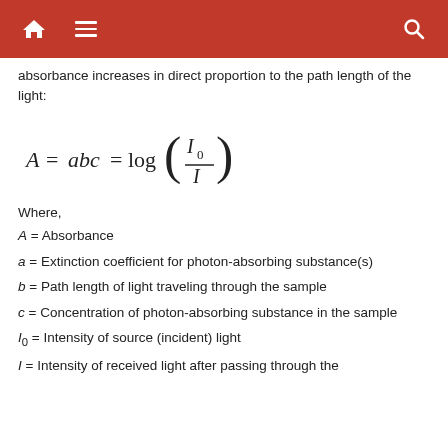Navigation bar with home, menu, and search icons
absorbance increases in direct proportion to the path length of the light:
Where,
A = Absorbance
a = Extinction coefficient for photon-absorbing substance(s)
b = Path length of light traveling through the sample
c = Concentration of photon-absorbing substance in the sample
I0 = Intensity of source (incident) light
I = Intensity of received light after passing through the